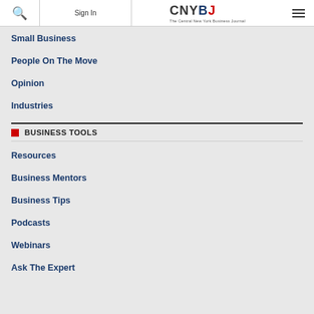Sign In | CNYBJ The Central New York Business Journal
Small Business
People On The Move
Opinion
Industries
BUSINESS TOOLS
Resources
Business Mentors
Business Tips
Podcasts
Webinars
Ask The Expert